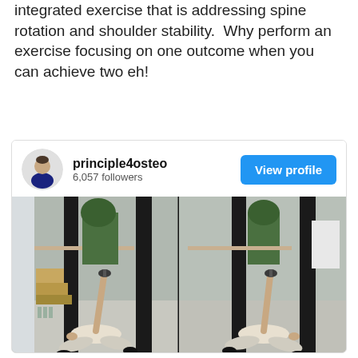integrated exercise that is addressing spine rotation and shoulder stability.  Why perform an exercise focusing on one outcome when you can achieve two eh!
[Figure (screenshot): Instagram profile card for principle4osteo with 6,057 followers and a View profile button, showing two side-by-side photos of a person lying on a gym floor performing a spine rotation exercise with one arm raised holding a weight.]